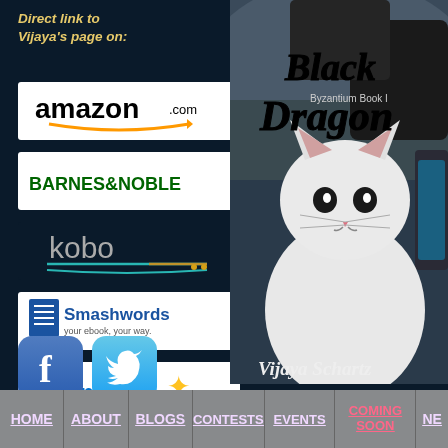Direct link to Vijaya's page on:
[Figure (logo): Amazon.com logo]
[Figure (logo): Barnes & Noble logo]
[Figure (logo): Kobo logo]
[Figure (logo): Smashwords logo]
[Figure (logo): Walmart logo]
Medieval Fantasy
Science Fiction
Contemporary Romance
[Figure (illustration): Book cover: Black Dragon, Byzantium Book I by Vijaya Schartz, featuring a white cat in front of a car, fantasy/sci-fi style]
[Figure (logo): Facebook icon]
[Figure (logo): Twitter bird icon]
HOME   ABOUT   BLOGS   CONTESTS   EVENTS   COMING SOON   NE…